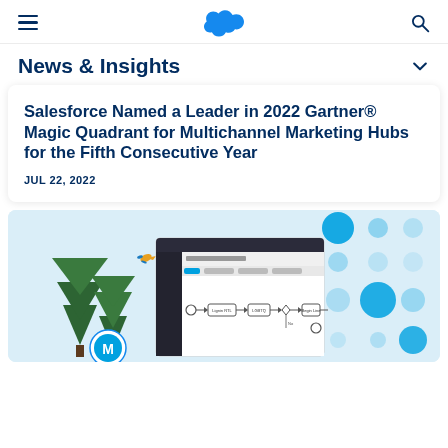Salesforce navigation bar with hamburger menu, cloud logo, and search icon
News & Insights
Salesforce Named a Leader in 2022 Gartner® Magic Quadrant for Multichannel Marketing Hubs for the Fifth Consecutive Year
JUL 22, 2022
[Figure (screenshot): Salesforce Marketing Cloud screenshot showing a workflow/automation builder interface with connected process nodes, alongside illustrated pine trees, a hummingbird, and the Mulesoft logo circle with blue dot pattern decorations on a light blue background.]